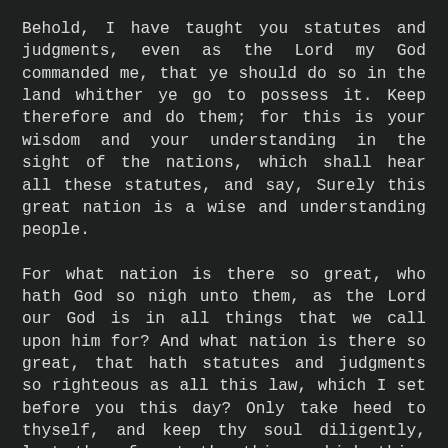Behold, I have taught you statutes and judgments, even as the Lord my God commanded me, that ye should do so in the land whither ye go to possess it.  Keep therefore and do them; for this is your wisdom and your understanding in the sight of the nations, which shall hear all these statutes, and say, Surely this great nation is a wise and understanding people.
For what nation is there so great, who hath God so nigh unto them, as the Lord our God is in all things that we call upon him for?  And what nation is there so great, that hath statutes and judgments so righteous as all this law, which I set before you this day?  Only take heed to thyself, and keep thy soul diligently, lest thou forget the things which thine eyes have seen, and lest they depart from thy heart all the days of thy life: but teach them thy sons, and thy sons' sons;
And the Lord spake unto you out of the midst of the fire: ye heard the voice of the words, but saw no similitude; only ye heard a voice.
And he declared unto you his covenant, which